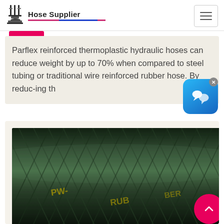Hose Supplier
Parflex reinforced thermoplastic hydraulic hoses can reduce weight by up to 70% when compared to steel tubing or traditional wire reinforced rubber hose. By reduc-ing th
[Figure (photo): Close-up photograph of a dark green/black reinforced thermoplastic hydraulic hose with visible braiding texture and yellow text markings on the surface.]